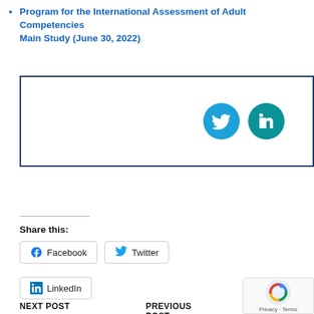Program for the International Assessment of Adult Competencies (PIAAC) Main Study (June 30, 2022)
[Figure (infographic): Bordered box with Twitter and LinkedIn social media icons (teal circles with white bird and 'in' logos)]
Share this:
Facebook  Twitter  LinkedIn share buttons
NEXT POST
APDU Weekly – June 9, 2022

PREVIOUS POST
APDU Weekly – May 26, 2022